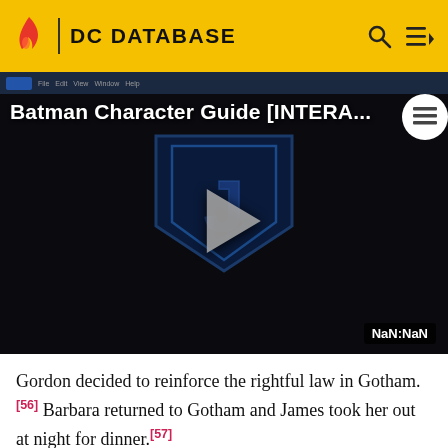DC DATABASE
[Figure (screenshot): Embedded video player showing 'Batman Character Guide [INTERA...' with Justice League logo and play button, time display showing NaN:NaN]
Gordon decided to reinforce the rightful law in Gotham.[56] Barbara returned to Gotham and James took her out at night for dinner.[57]
A few days later, Gordon was informed of an arms shipment stolen from Two-Face and he assumed that the